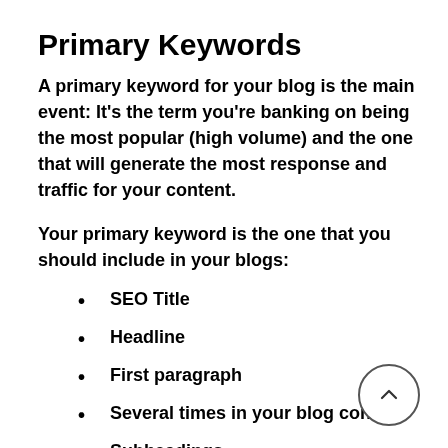Primary Keywords
A primary keyword for your blog is the main event: It's the term you're banking on being the most popular (high volume) and the one that will generate the most response and traffic for your content.
Your primary keyword is the one that you should include in your blogs:
SEO Title
Headline
First paragraph
Several times in your blog content
Subheadings
Conclusion